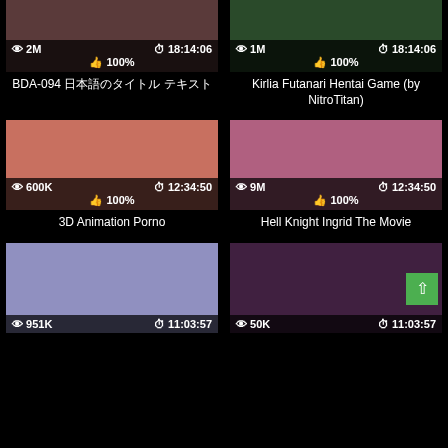[Figure (screenshot): Video thumbnail grid card 1 - BDA-094 Japanese title, 2M views, 18:14:06 duration, 100% likes]
BDA-094 日本語タイトル テキスト
[Figure (screenshot): Video thumbnail grid card 2 - Kirlia Futanari Hentai Game (by NitroTitan), 1M views, 18:14:06 duration, 100% likes]
Kirlia Futanari Hentai Game (by NitroTitan)
[Figure (screenshot): Video thumbnail grid card 3 - 3D Animation Porno, 600K views, 12:34:50 duration, 100% likes]
3D Animation Porno
[Figure (screenshot): Video thumbnail grid card 4 - Hell Knight Ingrid The Movie, 9M views, 12:34:50 duration, 100% likes]
Hell Knight Ingrid The Movie
[Figure (screenshot): Video thumbnail grid card 5 - bottom left, 951K views, 11:03:57 duration]
[Figure (screenshot): Video thumbnail grid card 6 - bottom right, 50K views, 11:03:57 duration]